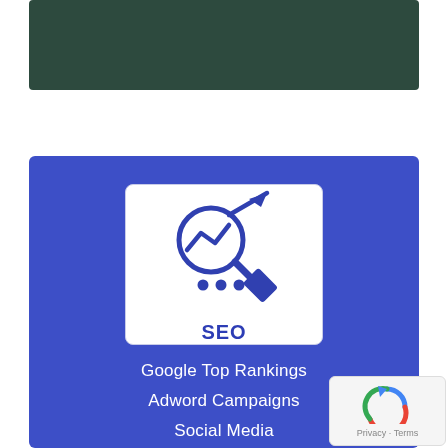[Figure (illustration): Dark green/teal banner at the top of the page]
[Figure (infographic): Blue card with SEO icon (magnifying glass with upward trend arrow and three dots) inside a white rounded box labeled SEO, followed by menu items: Google Top Rankings, Adword Campaigns, Social Media, Blog / Press Releases]
Google Top Rankings
Adword Campaigns
Social Media
Blog / Press Releases